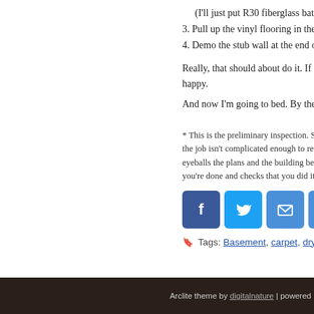(I'll just put R30 fiberglass batts
3. Pull up the vinyl flooring in the b
4. Demo the stub wall at the end o
Really, that should about do it. If I g happy.
And now I'm going to bed. By the w
* This is the preliminary inspection. Seattle h the job isn't complicated enough to require f eyeballs the plans and the building before th you're done and checks that you did it right.
[Figure (infographic): Four social sharing buttons: Facebook (blue), Twitter (blue), Email (blue envelope), Share/plus (blue plus)]
Tags: Basement, carpet, drywall, insulatio
Arclite theme by digitalnature | powered